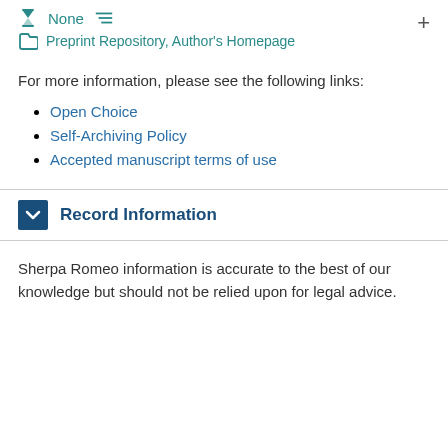None   Preprint Repository, Author's Homepage
For more information, please see the following links:
Open Choice
Self-Archiving Policy
Accepted manuscript terms of use
Record Information
Sherpa Romeo information is accurate to the best of our knowledge but should not be relied upon for legal advice.